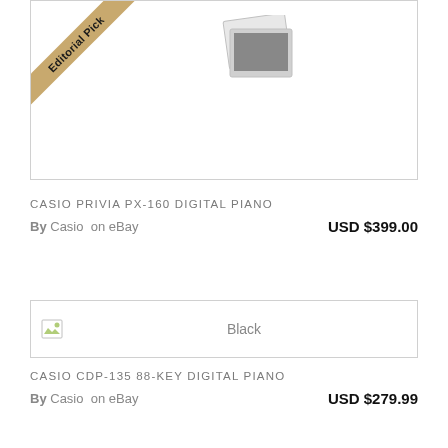[Figure (photo): Product image area with Editorial Pick ribbon banner in tan/gold color at top-left corner, and a gray placeholder photo icon in the center]
CASIO PRIVIA PX-160 DIGITAL PIANO
By Casio  on eBay    USD $399.00
[Figure (photo): Broken image placeholder icon on left, color label 'Black' in center]
CASIO CDP-135 88-KEY DIGITAL PIANO
By Casio  on eBay    USD $279.99